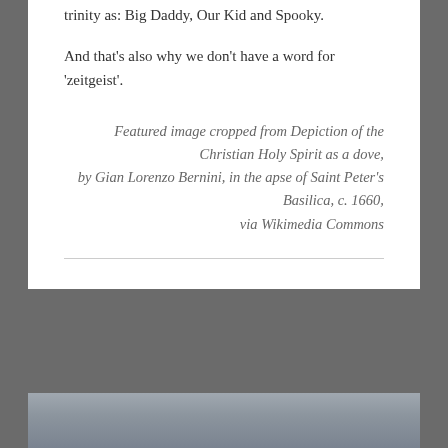trinity as: Big Daddy, Our Kid and Spooky.
And that’s also why we don’t have a word for ‘zeitgeist’.
Featured image cropped from Depiction of the Christian Holy Spirit as a dove, by Gian Lorenzo Bernini, in the apse of Saint Peter’s Basilica, c. 1660, via Wikimedia Commons
[Figure (photo): Bottom portion of a photo visible at the bottom of the page, showing a blurred grayish-blue sky or background.]